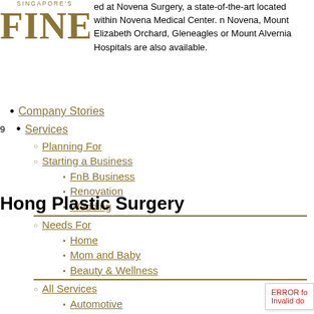[Figure (logo): Singapore's Finest logo with gold serif FINEST text]
ed at Novena Surgery, a state-of-the-art located within Novena Medical Center. n Novena, Mount Elizabeth Orchard, Gleneagles or Mount Alvernia Hospitals are also available.
Hong Plastic Surgery
Company Stories
Services
Planning For
Starting a Business
FnB Business
Renovation
Wedding
Needs For
Home
Mom and Baby
Beauty & Wellness
All Services
Automotive
Beauty and Wellness
Education
Finance
Food and Beverages
IT & Electronics
Household
Lifestyle
Marketing & Advertising